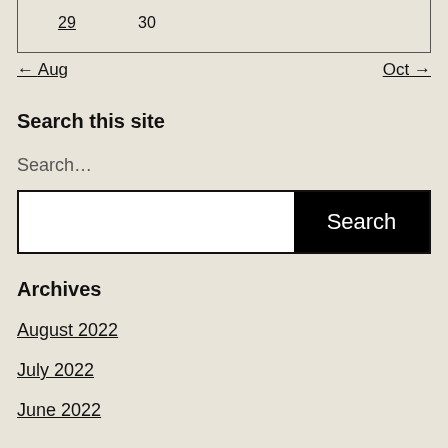| 29 | 30 |
← Aug    Oct →
Search this site
Search…
[Figure (other): Search input field with white background and black Search button]
Archives
August 2022
July 2022
June 2022